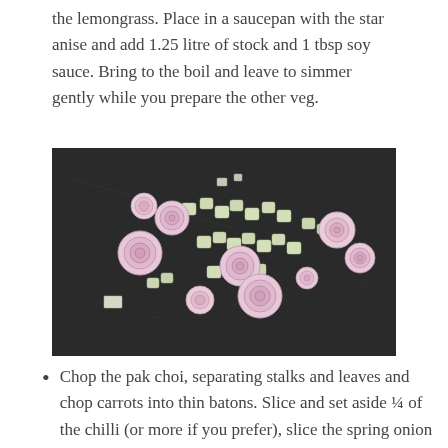the lemongrass. Place in a saucepan with the star anise and add 1.25 litre of stock and 1 tbsp soy sauce. Bring to the boil and leave to simmer gently while you prepare the other veg.
[Figure (photo): A dark slate background with sliced shallots showing concentric rings and chopped pale green lemongrass pieces scattered across the surface.]
Chop the pak choi, separating stalks and leaves and chop carrots into thin batons. Slice and set aside ¼ of the chilli (or more if you prefer), slice the spring onion and chop the coriander leaves. If